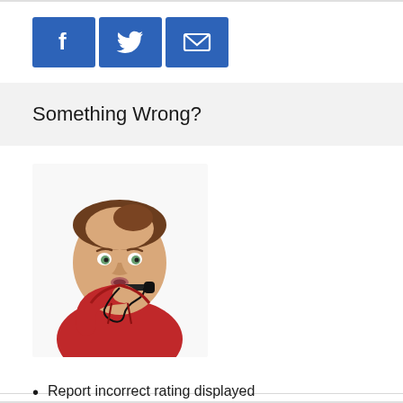[Figure (other): Three social share buttons: Facebook (f icon), Twitter (bird icon), Email (envelope icon), all with blue background]
Something Wrong?
[Figure (photo): Woman in red hoodie blowing a whistle, holding it up with one hand, looking serious at the camera, white background]
Report incorrect rating displayed